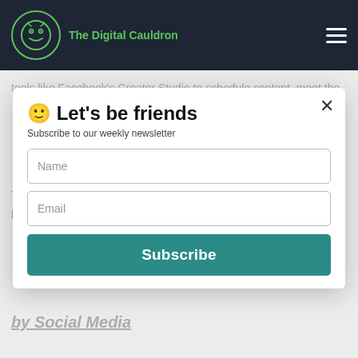The Digital Cauldron
tools like Facebook's Creator Studio to schedule content, meet the
🙂 Let's be friends
The core pillars of social media marketing are strategy, planning, publishing, listening, engaging, reviewing analytics, and
Subscribe to our weekly newsletter
Name
Email
Subscribe
by Social Media Marketing?